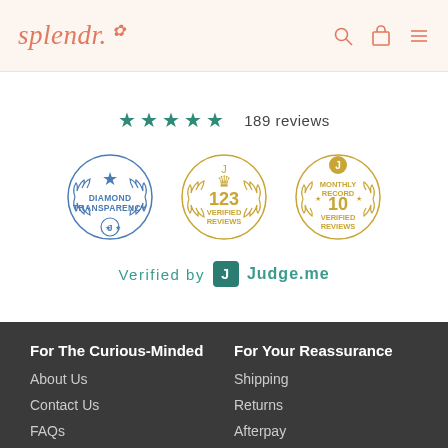splendr.
★★★★★ 189 reviews
[Figure (infographic): Three Judge.me badges: Diamond Transparency badge (blue circle with wreath and star), 123 Verified Reviews (gold crown and wreath), Monthly Record 10 Verified Reviews (gold circle with wreath)]
Verified by J Judge.me
For The Curious-Minded
For Your Reassurance
About Us
Shipping
Contact Us
Returns
FAQs
Afterpay